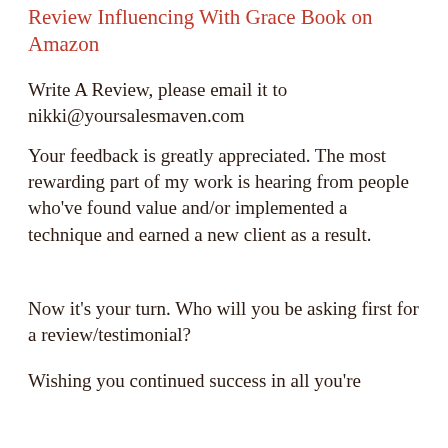Review Influencing With Grace Book on Amazon
Write A Review, please email it to nikki@yoursalesmaven.com
Your feedback is greatly appreciated. The most rewarding part of my work is hearing from people who've found value and/or implemented a technique and earned a new client as a result.
Now it's your turn. Who will you be asking first for a review/testimonial?
Wishing you continued success in all you're